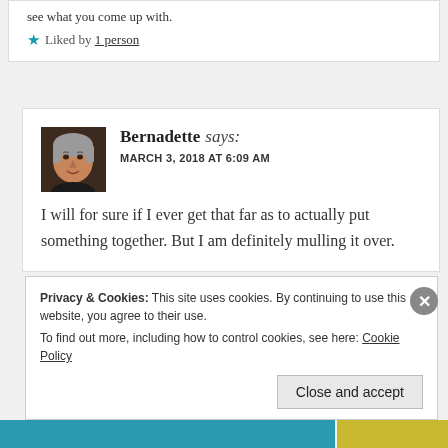see what you come up with.
★ Liked by 1 person
[Figure (photo): Avatar photo of Bernadette, a woman with gray hair]
Bernadette says: MARCH 3, 2018 AT 6:09 AM
I will for sure if I ever get that far as to actually put something together. But I am definitely mulling it over.
Privacy & Cookies: This site uses cookies. By continuing to use this website, you agree to their use. To find out more, including how to control cookies, see here: Cookie Policy
Close and accept